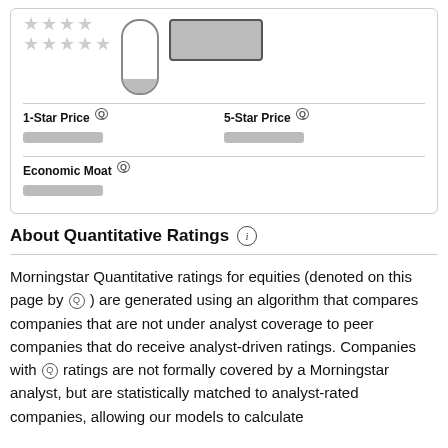[Figure (other): Top card showing star rating rows (4-star and 5-star rows, greyed out), a thermometer/meter gauge, and a dark bordered box. Below are fields: 1-Star Price, 5-Star Price, Economic Moat, all with redacted values.]
1-Star Price [Q]
5-Star Price [Q]
Economic Moat [Q]
About Quantitative Ratings (i)
Morningstar Quantitative ratings for equities (denoted on this page by Q ) are generated using an algorithm that compares companies that are not under analyst coverage to peer companies that do receive analyst-driven ratings. Companies with Q ratings are not formally covered by a Morningstar analyst, but are statistically matched to analyst-rated companies, allowing our models to calculate